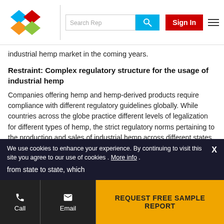Search Rep | Sign In
industrial hemp market in the coming years.
Restraint: Complex regulatory structure for the usage of industrial hemp
Companies offering hemp and hemp-derived products require compliance with different regulatory guidelines globally. While countries across the globe practice different levels of legalization for different types of hemp, the strict regulatory norms pertaining to the production and sales of industrial hemp across different states in the same country could be tedious for manufacturers and stakeholders to comply. Additionally, the regulations associated with hemp containing cannabidiol (CBD) and tetrahydrocannabinol ... from state to state, which
We use cookies to enhance your experience. By continuing to visit this site you agree to our use of cookies . More info .
REQUEST FREE SAMPLE REPORT